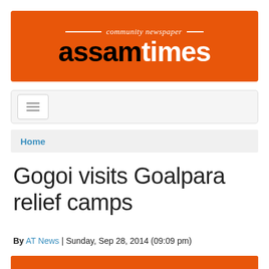[Figure (logo): Assam Times community newspaper logo on orange banner background with horizontal line decorations]
[Figure (screenshot): Navigation bar with hamburger menu button]
Home
Gogoi visits Goalpara relief camps
By AT News | Sunday, Sep 28, 2014 (09:09 pm)